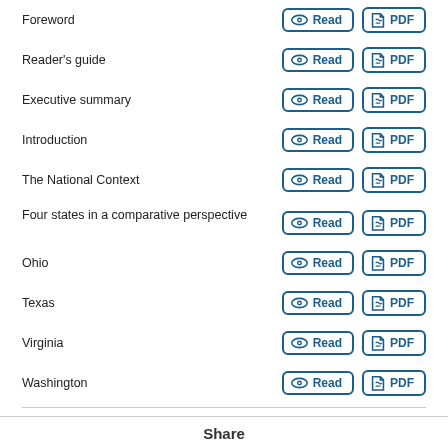Foreword
Reader's guide
Executive summary
Introduction
The National Context
Four states in a comparative perspective
Ohio
Texas
Virginia
Washington
ANNEXES
2 CHAPTERS AVAILABLE
Fact-finding visits to Ohio, Texas, Virginia, Washington and Washington, DC
Comparative tables: Data sources and definitions
Powered by OECD iLibrary
Share